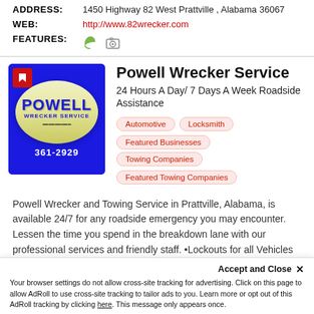ADDRESS: 1450 Highway 82 West Prattville , Alabama 36067
WEB: http://www.82wrecker.com
FEATURES: [leaf icon] [camera icon]
[Figure (logo): Powell Wrecker Service logo: blue background with gold oval, text POWELL WRECKER SERVICE 361-2929]
Powell Wrecker Service
24 Hours A Day/ 7 Days A Week Roadside Assistance
Automotive
Locksmith
Featured Businesses
Towing Companies
Featured Towing Companies
Powell Wrecker and Towing Service in Prattville, Alabama, is available 24/7 for any roadside emergency you may encounter. Lessen the time you spend in the breakdown lane with our professional services and friendly staff. •Lockouts for all Vehicles
Accept and Close ✕ Your browser settings do not allow cross-site tracking for advertising. Click on this page to allow AdRoll to use cross-site tracking to tailor ads to you. Learn more or opt out of this AdRoll tracking by clicking here. This message only appears once.